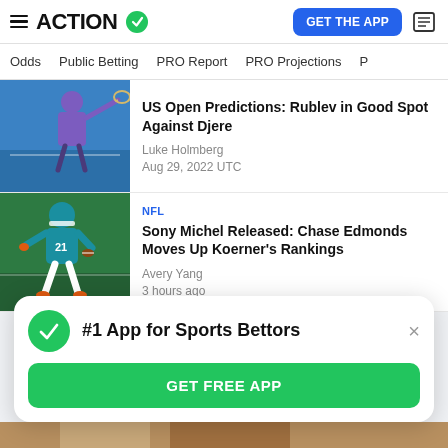ACTION
GET THE APP
Odds
Public Betting
PRO Report
PRO Projections
US Open Predictions: Rublev in Good Spot Against Djere
Luke Holmberg
Aug 29, 2022 UTC
NFL
Sony Michel Released: Chase Edmonds Moves Up Koerner's Rankings
Avery Yang
3 hours ago
#1 App for Sports Bettors
GET FREE APP